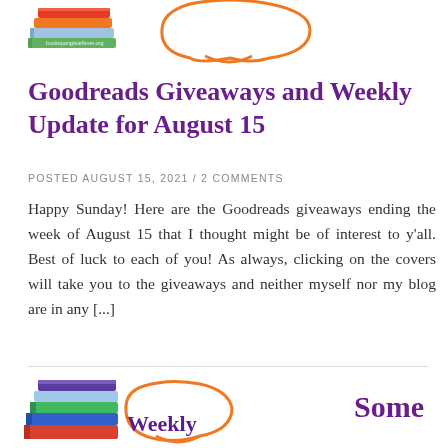[Figure (logo): Book stacks illustration with orange decorative speech bubble shape and website URL text, partial view at top of page]
Goodreads Giveaways and Weekly Update for August 15
POSTED AUGUST 15, 2021 / 2 COMMENTS
Happy Sunday! Here are the Goodreads giveaways ending the week of August 15 that I thought might be of interest to y'all. Best of luck to each of you! As always, clicking on the covers will take you to the giveaways and neither myself nor my blog are in any [...]
[Figure (logo): Book stacks illustration with orange decorative shape and 'Weekly' text in purple, partial view at bottom of page]
Some